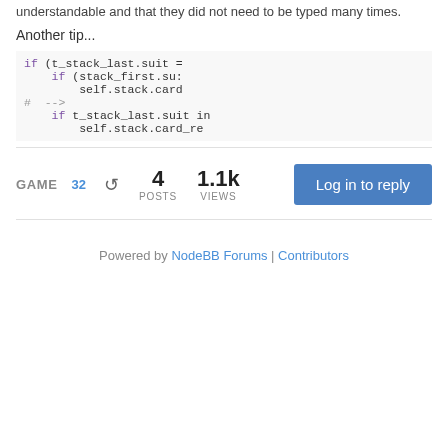understandable and that they did not need to be typed many times.
Another tip...
if (t_stack_last.suit =
    if (stack_first.su:
        self.stack.card
# -->
    if t_stack_last.suit in
        self.stack.card_re
GAME  32   [icon]  4 POSTS  1.1k VIEWS  Log in to reply
Powered by NodeBB Forums | Contributors